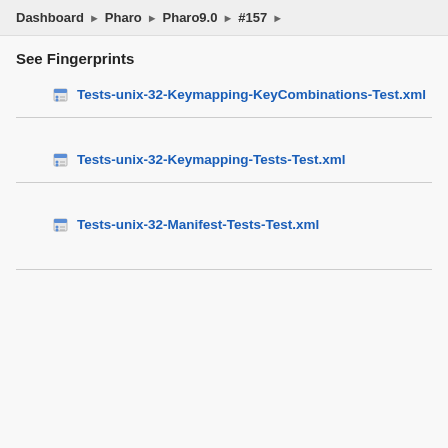Dashboard ▶ Pharo ▶ Pharo9.0 ▶ #157 ▶
See Fingerprints
Tests-unix-32-Keymapping-KeyCombinations-Test.xml
Tests-unix-32-Keymapping-Tests-Test.xml
Tests-unix-32-Manifest-Tests-Test.xml